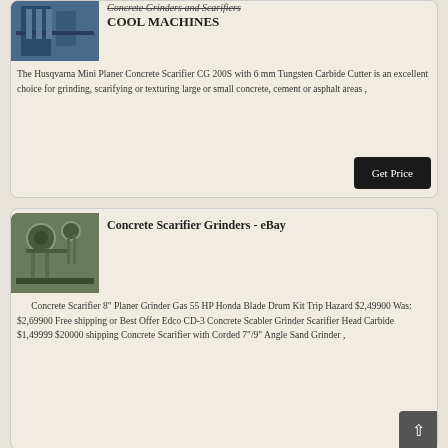[Figure (photo): Industrial machine / concrete grinder equipment photo, blue machinery]
Concrete Grinders and Scarifiers COOL MACHINES
The Husqvarna Mini Planer Concrete Scarifier CG 200S with 6 mm Tungsten Carbide Cutter is an excellent choice for grinding, scarifying or texturing large or small concrete, cement or asphalt areas ,
Get Price
[Figure (photo): Industrial pipes/equipment photo for eBay listing]
Concrete Scarifier Grinders - eBay
Concrete Scarifier 8" Planer Grinder Gas 55 HP Honda Blade Drum Kit Trip Hazard $2,49900 Was: $2,69900 Free shipping or Best Offer Edco CD-3 Concrete Scabler Grinder Scarifier Head Carbide $1,49999 $20000 shipping Concrete Scarifier with Corded 7"/9" Angle Sand Grinder ,